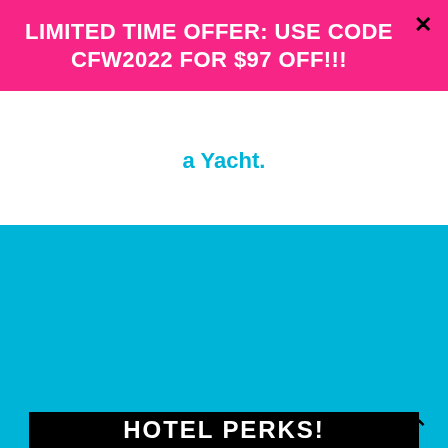LIMITED TIME OFFER: USE CODE CFW2022 FOR $97 OFF!!!
a Yacht.
PLUS,
Some Awesome
HOTEL PERKS!